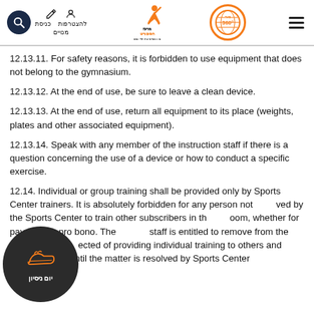מרכז הספורט באוניברסיטת תל אביב | להצטרפות | כניסת מנויים | 360
12.13.11. For safety reasons, it is forbidden to use equipment that does not belong to the gymnasium.
12.13.12. At the end of use, be sure to leave a clean device.
12.13.13. At the end of use, return all equipment to its place (weights, plates and other associated equipment).
12.13.14. Speak with any member of the instruction staff if there is a question concerning the use of a device or how to conduct a specific exercise.
12.14. Individual or group training shall be provided only by Sports Center trainers. It is absolutely forbidden for any person not employed by the Sports Center to train other subscribers in the room, whether for payment or pro bono. The staff is entitled to remove from the gym any those suspected of providing individual training to others and deny his entry until the matter is resolved by Sports Center management.